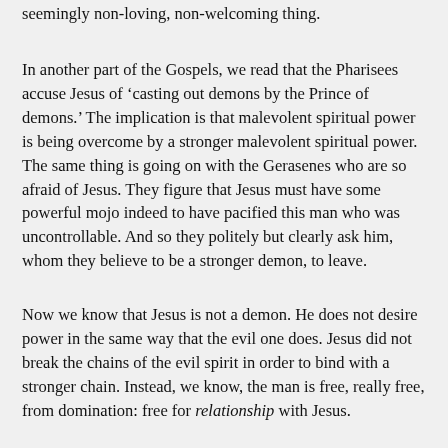seemingly non-loving, non-welcoming thing.
In another part of the Gospels, we read that the Pharisees accuse Jesus of ‘casting out demons by the Prince of demons.’ The implication is that malevolent spiritual power is being overcome by a stronger malevolent spiritual power. The same thing is going on with the Gerasenes who are so afraid of Jesus. They figure that Jesus must have some powerful mojo indeed to have pacified this man who was uncontrollable. And so they politely but clearly ask him, whom they believe to be a stronger demon, to leave.
Now we know that Jesus is not a demon. He does not desire power in the same way that the evil one does. Jesus did not break the chains of the evil spirit in order to bind with a stronger chain. Instead, we know, the man is free, really free, from domination: free for relationship with Jesus.
But it will do Jesus no good simply to tell all of them this, because